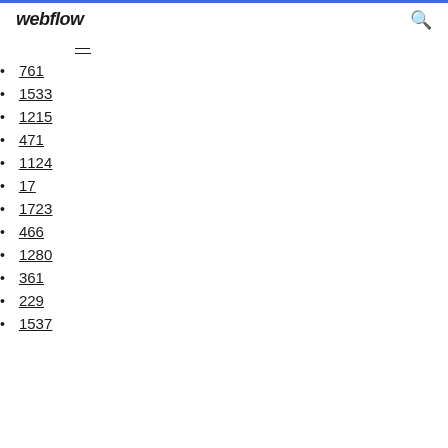webflow
—
761
1533
1215
471
1124
17
1723
466
1280
361
229
1537